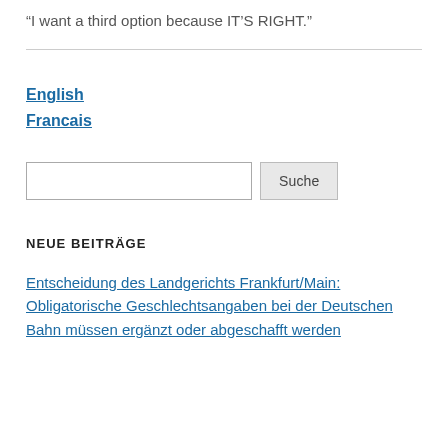“I want a third option because IT’S RIGHT.”
English
Francais
NEUE BEITRÄGE
Entscheidung des Landgerichts Frankfurt/Main: Obligatorische Geschlechtsangaben bei der Deutschen Bahn müssen ergänzt oder abgeschafft werden